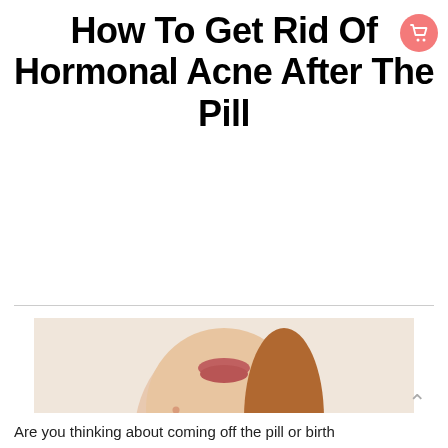How To Get Rid Of Hormonal Acne After The Pill
[Figure (photo): Close-up photo of a woman's lower face, neck, and chest showing acne/pimples on jawline, chin, and chest area. The woman has auburn hair pulled back. White background. Bottom-left portion of image is covered by a black redacted rectangle.]
Are you thinking about coming off the pill or birth